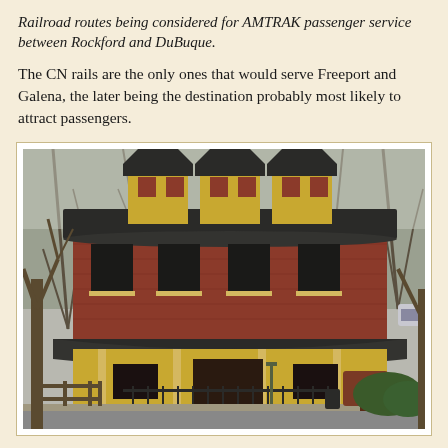Railroad routes being considered for AMTRAK passenger service between Rockford and DuBuque.
The CN rails are the only ones that would serve Freeport and Galena, the later being the destination probably most likely to attract passengers.
[Figure (photo): Exterior photograph of a historic red brick train station building with a dark metal roof, multiple arched windows on the upper floor, and distinctive cupola towers. The building has a covered lower-level porch area. Bare winter trees are visible in the background. A wooden fence and street are in the foreground.]